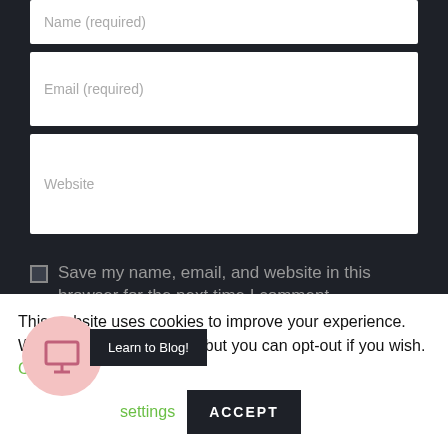[Figure (screenshot): Form fields for Name (required), Email (required), Website input boxes on dark background]
Save my name, email, and website in this browser for the next time I comment.
POST COMMENT
This website uses cookies to improve your experience. We'll assume ok with this, but you can opt-out if you wish. Cookie settings ACCEPT
[Figure (illustration): Pink circle icon with monitor/screen symbol and Learn to Blog! tooltip]